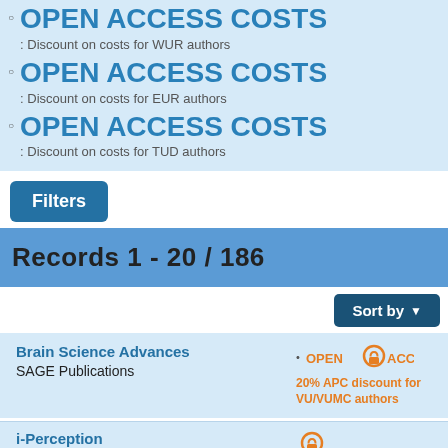OPEN ACCESS COSTS: Discount on costs for WUR authors
OPEN ACCESS COSTS: Discount on costs for EUR authors
OPEN ACCESS COSTS: Discount on costs for TUD authors
Filters
Records 1 - 20 / 186
Sort by
Brain Science Advances
SAGE Publications
20% APC discount for VU/VUMC authors
i-Perception